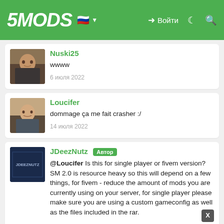5MODS | Войти
Nuski25
wwww
6 июля 2022
Loucifer
dommage ça me fait crasher :/
14 июля 2022
JDeezNutz Автор
@Loucifer Is this for single player or fivem version? SM 2.0 is resource heavy so this will depend on a few things, for fivem - reduce the amount of mods you are currently using on your server, for single player please make sure you are using a custom gameconfig as well as the files included in the rar.
15 июля 2022
Loucifer